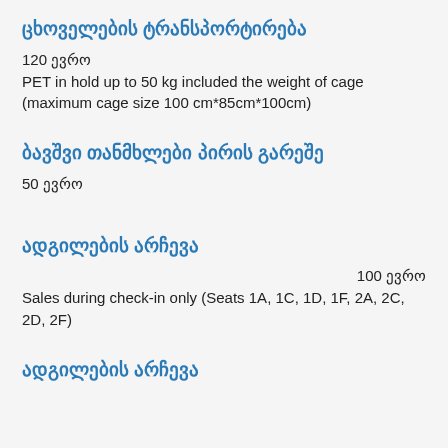ცხოველების ტრანსპორტირება
120 ევრო
PET in hold up to 50 kg included the weight of cage (maximum cage size 100 cm*85cm*100cm)
ბავშვი თანმხლები პირის გარეშე
50 ევრო
ადგილების არჩევა
100 ევრო
Sales during check-in only (Seats 1A, 1C, 1D, 1F, 2A, 2C, 2D, 2F)
ადგილების არჩევა